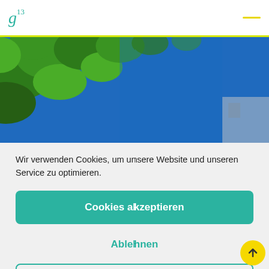g¹³
[Figure (photo): Overhead photo of green tree leaves against a bright blue sky, viewed from below]
Wir verwenden Cookies, um unsere Website und unseren Service zu optimieren.
Cookies akzeptieren
Ablehnen
Einstellungen anzeigen
Cookie-Richtlinie  Datenschutzerklärung  Impressum